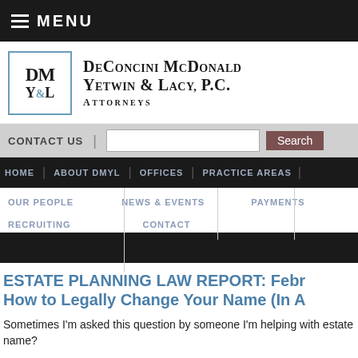MENU
[Figure (logo): DeConcini McDonald Yetwin & Lacy, P.C. Attorneys law firm logo with DM Y&L monogram in blue-bordered box]
CONTACT US | Search
HOME | ABOUT DMYL | OFFICES | PRACTICE AREAS | OUR PEOPLE | NEWS & EVENTS | PAYMENTS | RECRUITING | CONTACT
ESTATE PLANNING LAW REPORT: February – How to Legally Change Your Name (In A…
Sometimes I'm asked this question by someone I'm helping with estate… name?